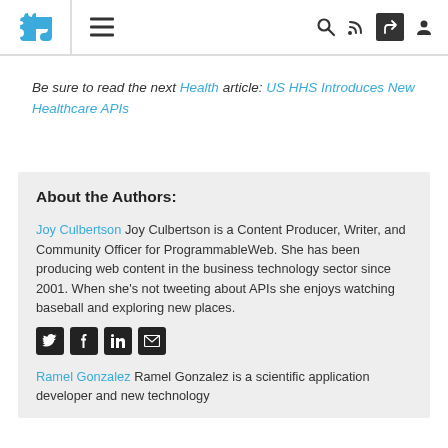ProgrammableWeb navigation bar with logo, hamburger menu, search, RSS, share, and profile icons
Be sure to read the next Health article: US HHS Introduces New Healthcare APIs
About the Authors:
Joy Culbertson Joy Culbertson is a Content Producer, Writer, and Community Officer for ProgrammableWeb. She has been producing web content in the business technology sector since 2001. When she's not tweeting about APIs she enjoys watching baseball and exploring new places.
Ramel Gonzalez Ramel Gonzalez is a scientific application developer and new technology